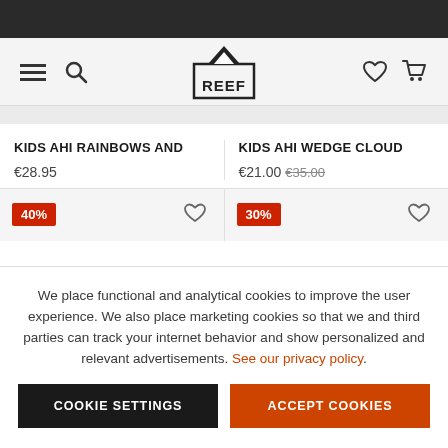[Figure (logo): REEF brand logo with mountain/wave icon above the word REEF in a bordered box]
KIDS AHI RAINBOWS AND
€28.95
KIDS AHI WEDGE CLOUD
€21.00  €35.00
We place functional and analytical cookies to improve the user experience. We also place marketing cookies so that we and third parties can track your internet behavior and show personalized and relevant advertisements. See our privacy policy.
COOKIE SETTINGS
ACCEPT COOKIES